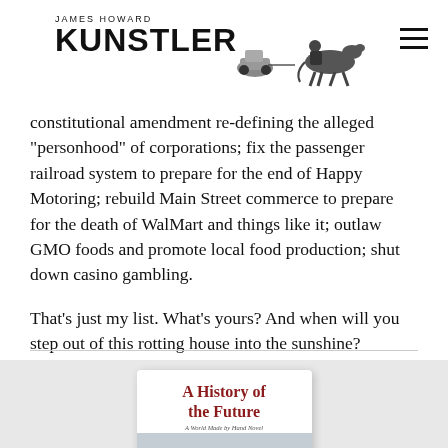JAMES HOWARD KUNSTLER
items: reinstate the Glass-Steagall Act; disassemble the ridiculous “security” edifice under the NSA; upgrade the US nuclear arsenal; draw down our military bases overseas (and some of our bases in the US); draw up a constitutional amendment re-defining the alleged “personhood” of corporations; fix the passenger railroad system to prepare for the end of Happy Motoring; rebuild Main Street commerce to prepare for the death of WalMart and things like it; outlaw GMO foods and promote local food production; shut down casino gambling.
That’s just my list. What’s yours? And when will you step out of this rotting house into the sunshine?
[Figure (illustration): Book cover for 'A History of the Future: A World Made by Hand Novel' showing a winter scene with bare trees and a stone building]
A History of the Future